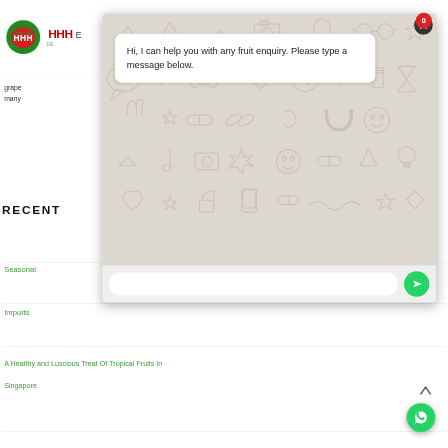[Figure (screenshot): Website header with HHH watermelon logo and brand text, partially visible behind a WhatsApp chat widget overlay. The chat widget shows a message bubble saying 'Hi, I can help you with any fruit enquiry. Please type a message below.' with a WhatsApp-styled background pattern. Below the overlay are partially visible navigation links: 'Seasonal', 'Imports', 'A Healthy and Luscious Treat Of Tropical Fruits In Singapore'. A green WhatsApp floating button is visible at bottom right with a caret arrow above it.]
Hi, I can help you with any fruit enquiry. Please type a message below.
RECENT
Seasonal
Imports
A Healthy and Luscious Treat Of Tropical Fruits In Singapore